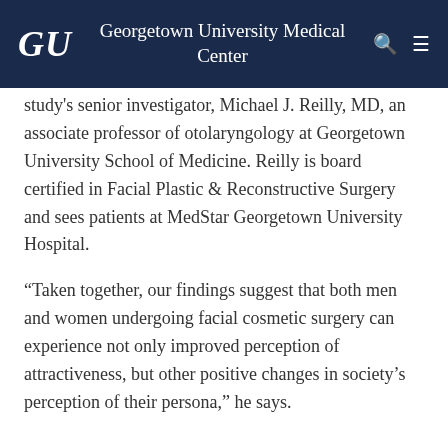GU Georgetown University Medical Center
study's senior investigator, Michael J. Reilly, MD, an associate professor of otolaryngology at Georgetown University School of Medicine. Reilly is board certified in Facial Plastic & Reconstructive Surgery and sees patients at MedStar Georgetown University Hospital.
“Taken together, our findings suggest that both men and women undergoing facial cosmetic surgery can experience not only improved perception of attractiveness, but other positive changes in society’s perception of their persona,” he says.